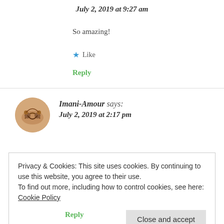July 2, 2019 at 9:27 am
So amazing!
★ Like
Reply
Imani-Amour says: July 2, 2019 at 2:17 pm
Privacy & Cookies: This site uses cookies. By continuing to use this website, you agree to their use.
To find out more, including how to control cookies, see here: Cookie Policy
Close and accept
Reply